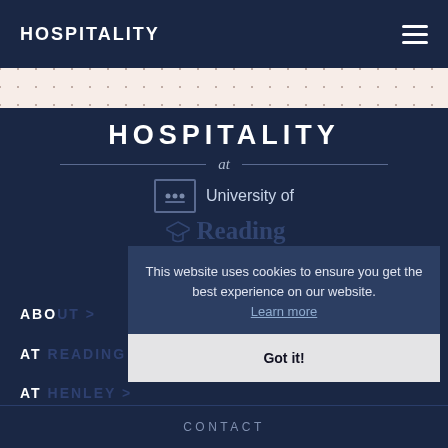HOSPITALITY
[Figure (logo): University of Reading Hospitality logo with HOSPITALITY text, decorative 'at' with lines, university shield icon and 'University of Reading' text]
ABOUT >
AT READING >
AT HENLEY >
This website uses cookies to ensure you get the best experience on our website. Learn more
Got it!
CONTACT